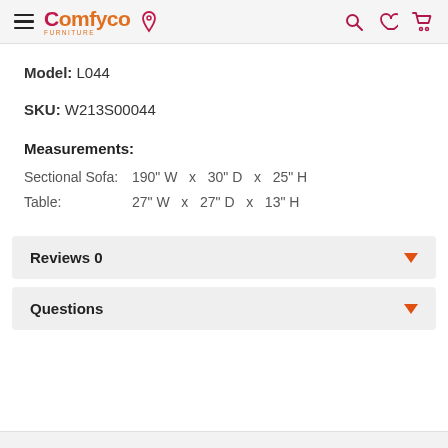Comfyco furniture navigation header with hamburger menu, logo, location pin, search, wishlist, and cart icons
Model: L044
SKU: W213S00044
Measurements:
Sectional Sofa: 190" W x 30" D x 25" H
Table: 27" W x 27" D x 13" H
Reviews 0
Questions